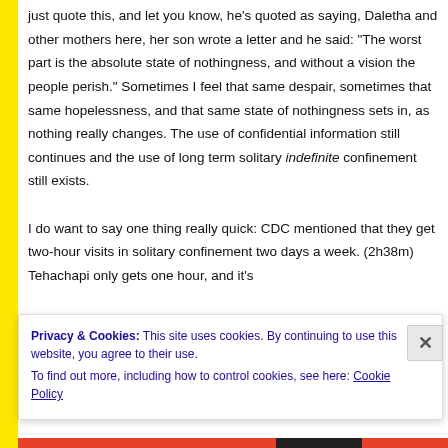just quote this, and let you know, he's quoted as saying, Daletha and other mothers here, her son wrote a letter and he said: “The worst part is the absolute state of nothingness, and without a vision the people perish.” Sometimes I feel that same despair, sometimes that same hopelessness, and that same state of nothingness sets in, as nothing really changes. The use of confidential information still continues and the use of long term solitary indefinite confinement still exists.

I do want to say one thing really quick: CDC mentioned that they get two-hour visits in solitary confinement two days a week. (2h38m) Tehachapi only gets one hour, and it’s
Privacy & Cookies: This site uses cookies. By continuing to use this website, you agree to their use.
To find out more, including how to control cookies, see here: Cookie Policy